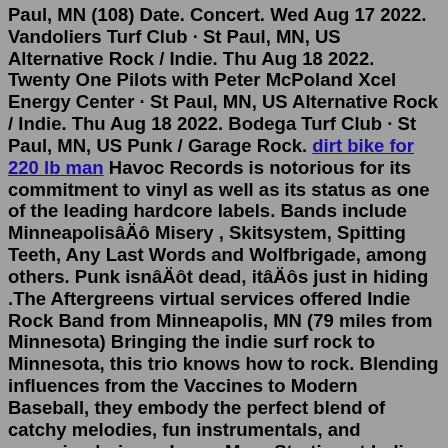Paul, MN (108) Date. Concert. Wed Aug 17 2022. Vandoliers Turf Club · St Paul, MN, US Alternative Rock / Indie. Thu Aug 18 2022. Twenty One Pilots with Peter McPoland Xcel Energy Center · St Paul, MN, US Alternative Rock / Indie. Thu Aug 18 2022. Bodega Turf Club · St Paul, MN, US Punk / Garage Rock. dirt bike for 220 lb man Havoc Records is notorious for its commitment to vinyl as well as its status as one of the leading hardcore labels. Bands include MinneapolisâÄô Misery , Skitsystem, Spitting Teeth, Any Last Words and Wolfbrigade, among others. Punk isnâÄôt dead, itâÄôs just in hiding .The Aftergreens virtual services offered Indie Rock Band from Minneapolis, MN (79 miles from Minnesota) Bringing the indie surf rock to Minnesota, this trio knows how to rock. Blending influences from the Vaccines to Modern Baseball, they embody the perfect blend of catchy melodies, fun instrumentals, and engaging lyrics.... Learn More Starting at Indie Rock Bands / Minnesota / Minnesota Lake, MN Indie Rock Bands. Indie Rock Bands / Minnesota /